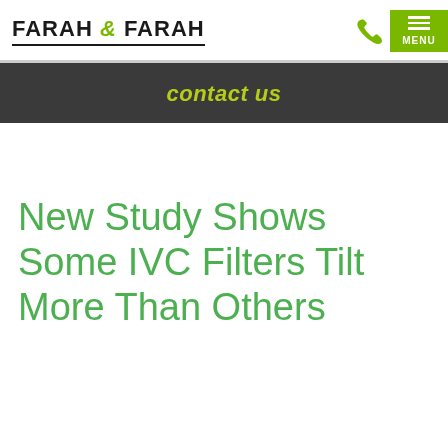FARAH & FARAH
contact us
New Study Shows Some IVC Filters Tilt More Than Others